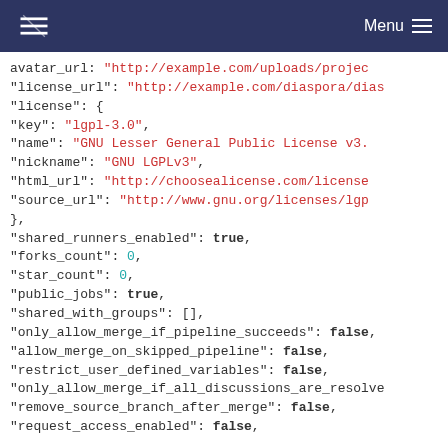Menu
avatar_url: "http://example.com/uploads/projec"
"license_url": "http://example.com/diaspora/dias"
"license": {
  "key": "lgpl-3.0",
  "name": "GNU Lesser General Public License v3.",
  "nickname": "GNU LGPLv3",
  "html_url": "http://choosealicense.com/license",
  "source_url": "http://www.gnu.org/licenses/lgp"
},
"shared_runners_enabled": true,
"forks_count": 0,
"star_count": 0,
"public_jobs": true,
"shared_with_groups": [],
"only_allow_merge_if_pipeline_succeeds": false,
"allow_merge_on_skipped_pipeline": false,
"restrict_user_defined_variables": false,
"only_allow_merge_if_all_discussions_are_resolve"
"remove_source_branch_after_merge": false,
"request_access_enabled": false,